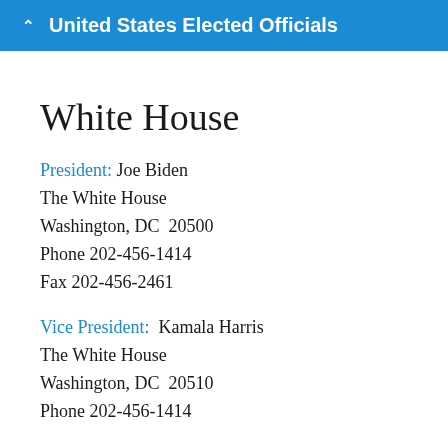United States Elected Officials
White House
President: Joe Biden
The White House
Washington, DC  20500
Phone 202-456-1414
Fax 202-456-2461
Vice President:  Kamala Harris
The White House
Washington, DC  20510
Phone 202-456-1414